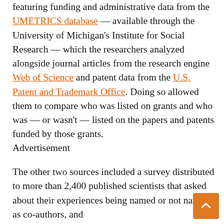featuring funding and administrative data from the UMETRICS database — available through the University of Michigan's Institute for Social Research — which the researchers analyzed alongside journal articles from the research engine Web of Science and patent data from the U.S. Patent and Trademark Office. Doing so allowed them to compare who was listed on grants and who was — or wasn't — listed on the papers and patents funded by those grants.
Advertisement
The other two sources included a survey distributed to more than 2,400 published scientists that asked about their experiences being named or not named as co-authors, and